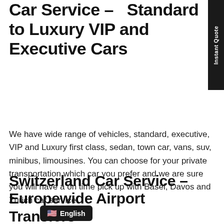Car Service – Standard to Luxury VIP and Executive Cars
We have wide range of vehicles, standard, executive, VIP and Luxury first class, sedan, town car, vans, suv, minibus, limousines. You can choose for your private transportation which car you prefer and we are sure you will have a on time pick up with Basel, Davos and Zurich car service.
Switzerland Car Service – Europewide Airport Transfers